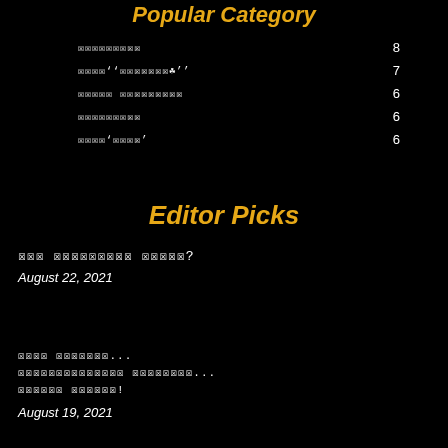Popular Category
░░░░░░░░░ 8
░░░░''░░░░░░░░'' 7
░░░░░ ░░░░░░░░░ 6
░░░░░░░░░ 6
░░░░'░░░░' 6
Editor Picks
░░░ ░░░░░░░░░ ░░░░░?
August 22, 2021
░░░░ ░░░░░░░...
░░░░░░░░░░░░░░ ░░░░░░░░...
░░░░░░ ░░░░░░!
August 19, 2021